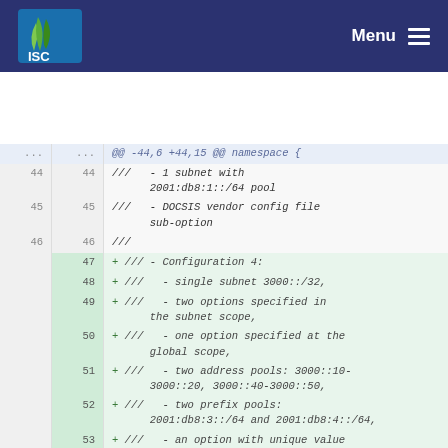ISC | Menu
[Figure (screenshot): Code diff view showing lines 44-54 of a C++ source file with namespace block. Lines 44-46 are context lines with '///' comments about subnet and DOCSIS config. Lines 47-54 are added lines (green background) with '+' prefix, describing Configuration 4 with single subnet 3000::/32, two options in subnet scope, one option at global scope, two address pools: 3000::10-3000::20 and 3000::40-3000::50, two prefix pools: 2001:db8:3::/64 and 2001:db8:4::/64, an option with unique value specified for each pool, so as it is possible to test that pool specific options can be assigned.]